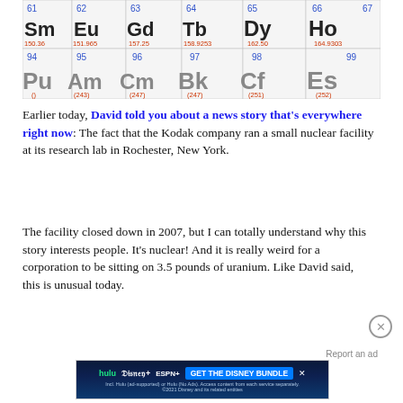[Figure (photo): Photograph of a periodic table showing elements including Sm (62, 150.36), Eu (63, 151.965), Gd (64, 157.25), Tb (65, 158.9253), Dy (66, 162.50), Ho (67, 164.9303) in top row, and Pu (94), Am (95, 243), Cm (96, 247), Bk (97, 247), Cf (98, 251), Es (99, 252) in bottom row.]
Earlier today, David told you about a news story that's everywhere right now: The fact that the Kodak company ran a small nuclear facility at its research lab in Rochester, New York.
The facility closed down in 2007, but I can totally understand why this story interests people. It's nuclear! And it is really weird for a corporation to be sitting on 3.5 pounds of uranium. Like David said, this is unusual today.
[Figure (screenshot): Advertisement banner for Disney Bundle (Hulu, Disney+, ESPN+) with text 'GET THE DISNEY BUNDLE'. Fine print: 'Incl. Hulu (ad-supported) or Hulu (No Ads). Access content from each service separately. ©2021 Disney and its related entities']